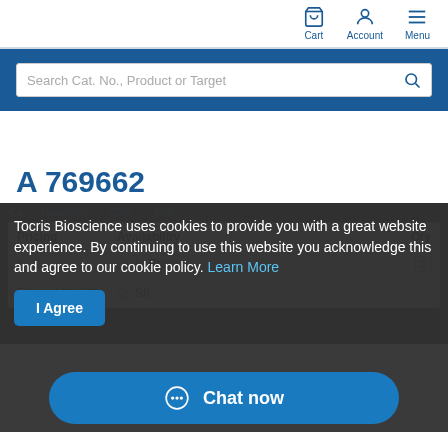Cart | Account | Menu
[Figure (screenshot): Search bar with placeholder 'Search Cat. No., Product or Target' on blue background]
A 769662
Tocris Bioscience uses cookies to provide you with a great website experience. By continuing to use this website you acknowledge this and agree to our cookie policy. Learn More
I Agree
| Pricing | Availability | Qty |
| --- | --- | --- |
| $... | In Stock | 0 |
| 50 mg / $1,003 | Sh... |  |
Chat now